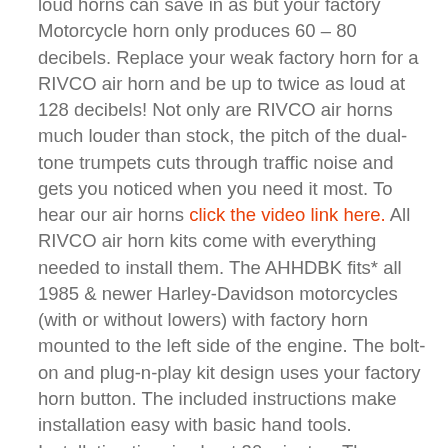loud horns can save in as but your factory Motorcycle horn only produces 60 – 80 decibels. Replace your weak factory horn for a RIVCO air horn and be up to twice as loud at 128 decibels! Not only are RIVCO air horns much louder than stock, the pitch of the dual-tone trumpets cuts through traffic noise and gets you noticed when you need it most. To hear our air horns click the video link here. All RIVCO air horn kits come with everything needed to install them. The AHHDBK fits* all 1985 & newer Harley-Davidson motorcycles (with or without lowers) with factory horn mounted to the left side of the engine. The bolt-on and plug-n-play kit design uses your factory horn button. The included instructions make installation easy with basic hand tools. Installation time is about 30 minutes. The AHHDBK air horns feature a beautiful and durable black powder-coated finish. The trumpets are completely